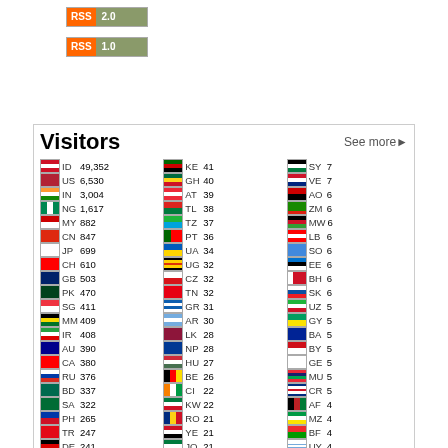[Figure (other): RSS 2.0 button - orange RSS label with gray 2.0]
[Figure (other): RSS 1.0 button - orange RSS label with gray 1.0]
| Flag | Code | Count | Flag | Code | Count | Flag | Code | Count |
| --- | --- | --- | --- | --- | --- | --- | --- | --- |
| ID | 49,352 | KE | 41 | SY | 7 |
| US | 6,530 | GH | 40 | VE | 7 |
| IN | 3,004 | AT | 39 | AO | 6 |
| NG | 1,617 | TL | 38 | ZM | 6 |
| MY | 882 | TZ | 37 | MW | 6 |
| CN | 847 | PT | 36 | LB | 6 |
| JP | 699 | UA | 34 | SO | 6 |
| CH | 610 | UG | 32 | EE | 6 |
| GB | 503 | CZ | 32 | BH | 6 |
| PK | 470 | TN | 32 | SK | 6 |
| SG | 411 | GR | 31 | UZ | 5 |
| MM | 409 | AR | 30 | GY | 5 |
| IR | 408 | LK | 28 | BA | 5 |
| AU | 390 | NP | 28 | BY | 5 |
| CA | 380 | HU | 27 | GE | 5 |
| RU | 376 | BE | 26 | MU | 5 |
| BD | 337 | CI | 22 | CR | 5 |
| SA | 322 | KW | 22 | AF | 4 |
| PH | 265 | RO | 21 | MZ | 4 |
| TR | 247 | YE | 21 | BF | 4 |
| DE | 241 | JO | 21 | UY | 4 |
| TH | 234 | IL | 21 | IS | 4 |